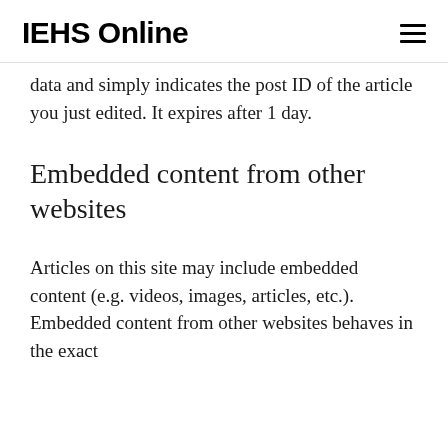IEHS Online
data and simply indicates the post ID of the article you just edited. It expires after 1 day.
Embedded content from other websites
Articles on this site may include embedded content (e.g. videos, images, articles, etc.). Embedded content from other websites behaves in the exact